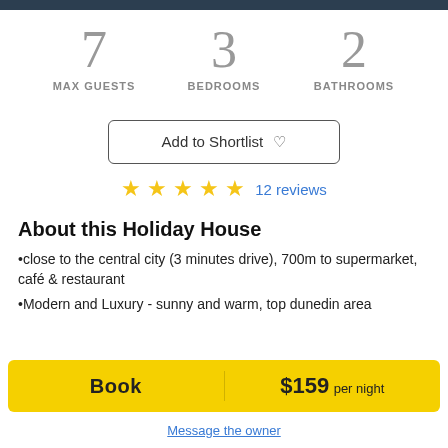7 MAX GUESTS
3 BEDROOMS
2 BATHROOMS
Add to Shortlist ♡
★★★★★ 12 reviews
About this Holiday House
•close to the central city (3 minutes drive), 700m to supermarket, café & restaurant
•Modern and Luxury - sunny and warm, top dunedin area
Book  $159 per night
Message the owner